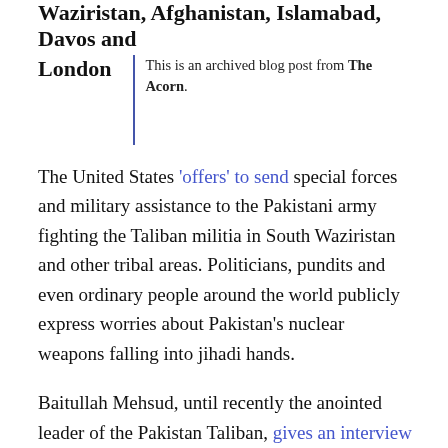Waziristan, Afghanistan, Islamabad, Davos and London
This is an archived blog post from The Acorn.
The United States 'offers' to send special forces and military assistance to the Pakistani army fighting the Taliban militia in South Waziristan and other tribal areas. Politicians, pundits and even ordinary people around the world publicly express worries about Pakistan's nuclear weapons falling into jihadi hands.
Baitullah Mehsud, until recently the anointed leader of the Pakistan Taliban, gives an interview